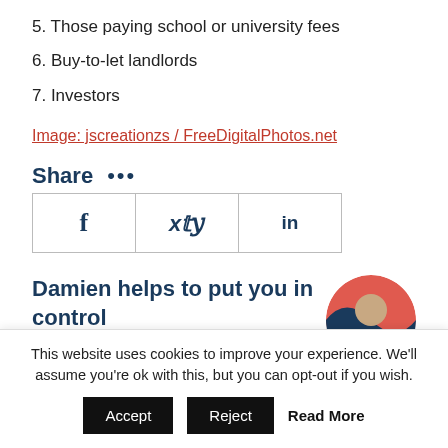5. Those paying school or university fees
6. Buy-to-let landlords
7. Investors
Image: jscreationzs / FreeDigitalPhotos.net
Share •••
[Figure (other): Social share icons table with Facebook (f), Twitter (bird), and LinkedIn (in)]
Damien helps to put you in control
This website uses cookies to improve your experience. We'll assume you're ok with this, but you can opt-out if you wish.